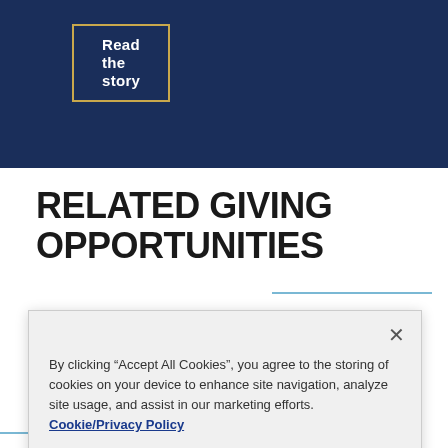Read the story
RELATED GIVING OPPORTUNITIES
By clicking “Accept All Cookies”, you agree to the storing of cookies on your device to enhance site navigation, analyze site usage, and assist in our marketing efforts. Cookie/Privacy Policy
Cookies Settings
Accept All Cookies
Make a gift